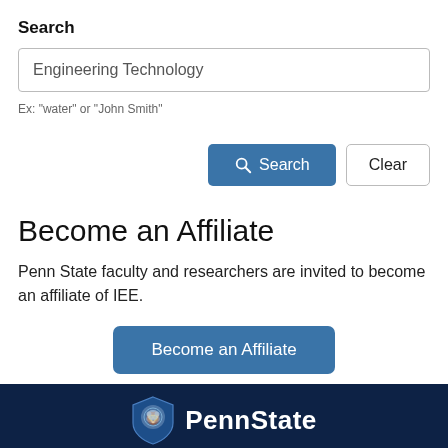Search
Engineering Technology
Ex: "water" or "John Smith"
Search | Clear
Become an Affiliate
Penn State faculty and researchers are invited to become an affiliate of IEE.
Become an Affiliate
PennState